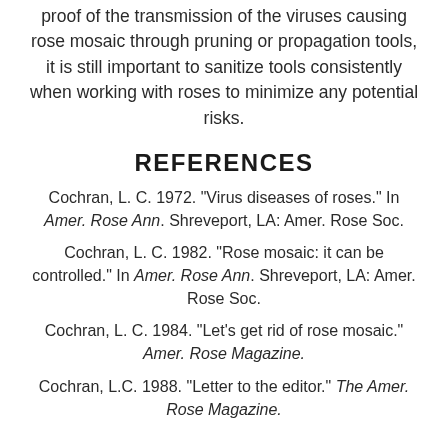proof of the transmission of the viruses causing rose mosaic through pruning or propagation tools, it is still important to sanitize tools consistently when working with roses to minimize any potential risks.
REFERENCES
Cochran, L. C. 1972. "Virus diseases of roses." In Amer. Rose Ann. Shreveport, LA: Amer. Rose Soc.
Cochran, L. C. 1982. "Rose mosaic: it can be controlled." In Amer. Rose Ann. Shreveport, LA: Amer. Rose Soc.
Cochran, L. C. 1984. "Let's get rid of rose mosaic." Amer. Rose Magazine.
Cochran, L.C. 1988. "Letter to the editor." The Amer. Rose Magazine.